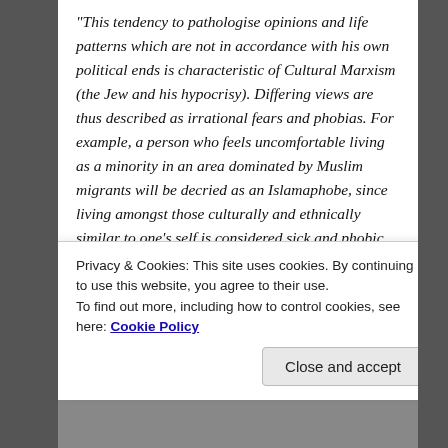“This tendency to pathologise opinions and life patterns which are not in accordance with his own political ends is characteristic of Cultural Marxism (the Jew and his hypocrisy). Differing views are thus described as irrational fears and phobias. For example, a person who feels uncomfortable living as a minority in an area dominated by Muslim migrants will be decried as an Islamaphobe, since living amongst those culturally and ethnically similar to one’s self is considered sick and phobic.
“When Pakistani Muslims, living in Britain by contrast, show in-group preference converting entire sections of a town or a city into a mini-Pakistan there is no sickness, no phobia, only multiculturalism.
Privacy & Cookies: This site uses cookies. By continuing to use this website, you agree to their use.
To find out more, including how to control cookies, see here: Cookie Policy